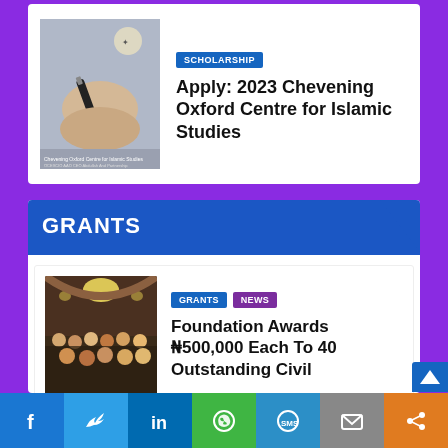[Figure (photo): Hand holding a pen over a document with a crest/logo, scholarship-related image]
SCHOLARSHIP
Apply: 2023 Chevening Oxford Centre for Islamic Studies
GRANTS
[Figure (photo): Group photo of people in formal/traditional attire at an indoor venue]
GRANTS NEWS
Foundation Awards ₦500,000 Each To 40 Outstanding Civil
[Figure (photo): Partial image showing logos/branding including renewable project related graphics]
GRANTS
f  Twitter  in  WhatsApp  SMS  Email  Share